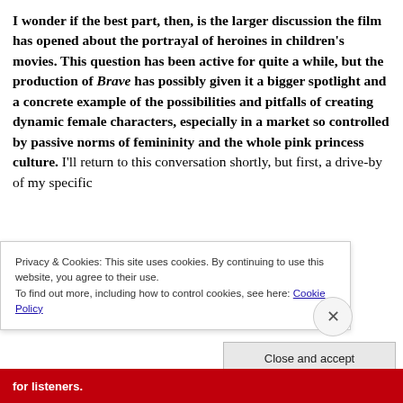I wonder if the best part, then, is the larger discussion the film has opened about the portrayal of heroines in children's movies. This question has been active for quite a while, but the production of Brave has possibly given it a bigger spotlight and a concrete example of the possibilities and pitfalls of creating dynamic female characters, especially in a market so controlled by passive norms of femininity and the whole pink princess culture. I'll return to this conversation shortly, but first, a drive-by of my specific
Privacy & Cookies: This site uses cookies. By continuing to use this website, you agree to their use.
To find out more, including how to control cookies, see here: Cookie Policy
Close and accept
for listeners.